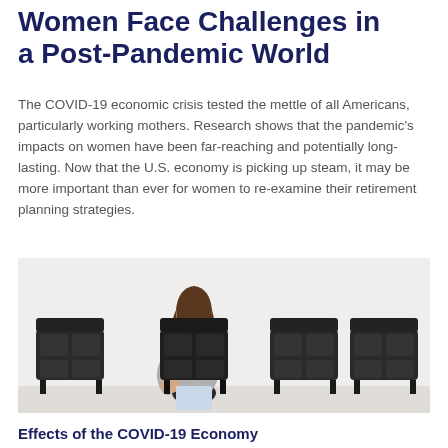Women Face Challenges in a Post-Pandemic World
The COVID-19 economic crisis tested the mettle of all Americans, particularly working mothers. Research shows that the pandemic's impacts on women have been far-reaching and potentially long-lasting. Now that the U.S. economy is picking up steam, it may be more important than ever for women to re-examine their retirement planning strategies.
[Figure (photo): A woman sitting alone among three black leather chairs, looking downward with her head resting on her hand, holding papers, appearing stressed or dejected in a waiting room setting.]
Effects of the COVID-19 Economy